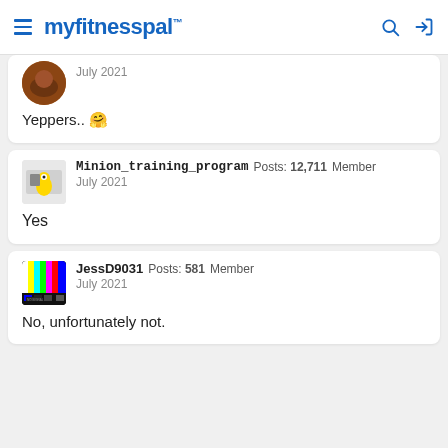myfitnesspal
July 2021
Yeppers.. 🤗
Minion_training_program  Posts: 12,711  Member
July 2021
Yes
JessD9031  Posts: 581  Member
July 2021
No, unfortunately not.